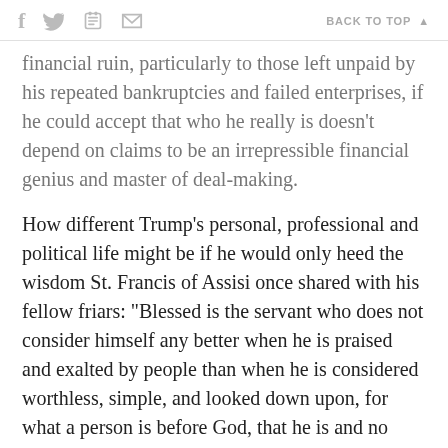f  [twitter]  [print]  [mail]  BACK TO TOP ▲
financial ruin, particularly to those left unpaid by his repeated bankruptcies and failed enterprises, if he could accept that who he really is doesn't depend on claims to be an irrepressible financial genius and master of deal-making.
How different Trump's personal, professional and political life might be if he would only heed the wisdom St. Francis of Assisi once shared with his fellow friars: "Blessed is the servant who does not consider himself any better when he is praised and exalted by people than when he is considered worthless, simple, and looked down upon, for what a person is before God, that he is and no more."
This is advice that we could all use, because Trump is not the only one who struggles with the true and false selves. He just happens to be the biggest, loudest,